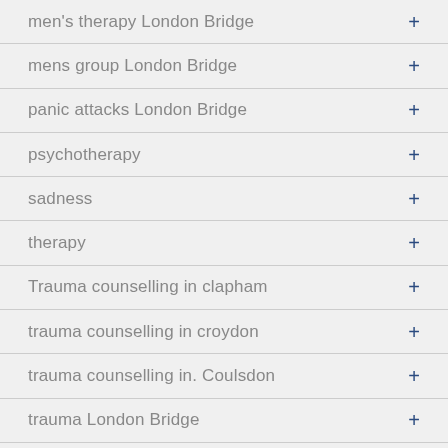men's therapy London Bridge
mens group London Bridge
panic attacks London Bridge
psychotherapy
sadness
therapy
Trauma counselling in clapham
trauma counselling in croydon
trauma counselling in. Coulsdon
trauma London Bridge